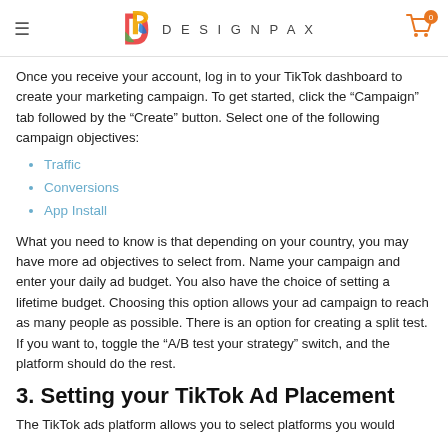DESIGNPAX
Once you receive your account, log in to your TikTok dashboard to create your marketing campaign. To get started, click the “Campaign” tab followed by the “Create” button. Select one of the following campaign objectives:
Traffic
Conversions
App Install
What you need to know is that depending on your country, you may have more ad objectives to select from. Name your campaign and enter your daily ad budget. You also have the choice of setting a lifetime budget. Choosing this option allows your ad campaign to reach as many people as possible. There is an option for creating a split test. If you want to, toggle the “A/B test your strategy” switch, and the platform should do the rest.
3. Setting your TikTok Ad Placement
The TikTok ads platform allows you to select platforms you would